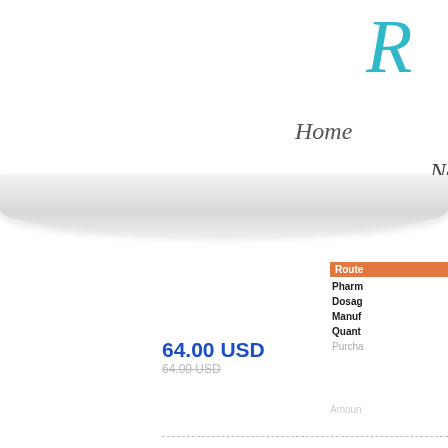[Figure (logo): Cursive R logo in teal/turquoise color, partially visible at top right corner]
Home
News
Route
Pharm
Dosag
Manuf
Quant
Purcha
64.00 USD
64.00 USD (strikethrough)
Amoun
[Figure (photo): White pharmaceutical bag/pouch with blue label, product shot for Viagra or similar drug]
Viag
Drug C
Brand
Routes
Pharm